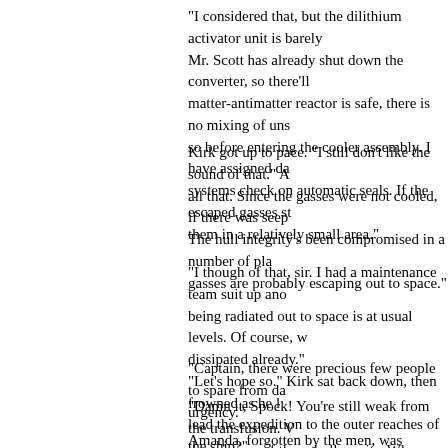“I considered that, but the dilithium activator unit is barely Mr. Scott has already shut down the converter, so there’ll matter-antimatter reactor is safe, there is no mixing of uns so before entering the cooler assembly. I have assigned da systems check on automatic seals. If the escaped gasses st them in a relatively small area.”
Kirk got up to pace. “I still don’t like the sound of that.” A all that. Since the gasses were not cooled, if there was seep The hull integrity’s been compromised in a number of pla gasses are probably escaping out to space.”
“I though of that, sir. I had a maintenance team suit up ano being radiated out to space is at usual levels. Of course, w dissipated already.”
“Let’s hope so.” Kirk sat back down, then frowned as he l lead the expedition to the outer reaches of the ship?”
“Captain, there were precious few people to spare from da urgency.”
“Damn it, Spock! You’re still weak from the transfusion. V there in one of those bulky suits. When are you going to le
Amanda, forgotten by the men, was warmed by the care in